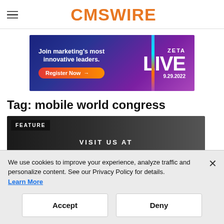CMSWIRE
[Figure (infographic): Zeta Live advertisement banner: 'Join marketing's most innovative leaders. Register Now → ZETA LIVE 9.29.2022' on a blue-purple gradient background]
Tag: mobile world congress
[Figure (photo): Feature article image with dark background showing 'FEATURE' badge and 'VISIT US AT' text]
We use cookies to improve your experience, analyze traffic and personalize content. See our Privacy Policy for details.
Learn More
Accept    Deny